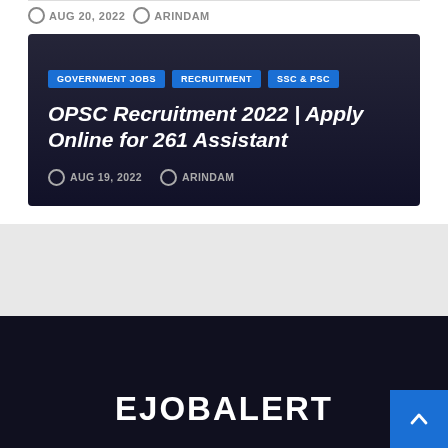AUG 20, 2022  ARINDAM
[Figure (screenshot): Dark card with job listing for OPSC Recruitment 2022 showing tags GOVERNMENT JOBS, RECRUITMENT, SSC & PSC and title text]
GOVERNMENT JOBS  RECRUITMENT  SSC & PSC
OPSC Recruitment 2022 | Apply Online for 261 Assistant
AUG 19, 2022  ARINDAM
EJOBALERT